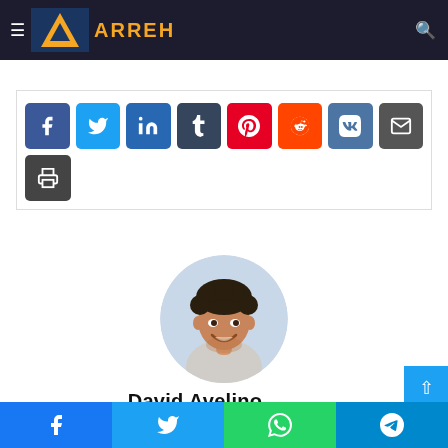Arreh - header navigation bar
can control with a few clicks of the mouse. Turn on your appliances as you walk home."
[Figure (screenshot): Social share buttons: Facebook, Twitter, LinkedIn, Tumblr, Pinterest, Reddit, VK, Email, Print]
[Figure (photo): Circular profile photo of a smiling young man with curly hair wearing a light grey shirt]
David Avelino
Bottom social bar: Facebook, Twitter, WhatsApp, Telegram